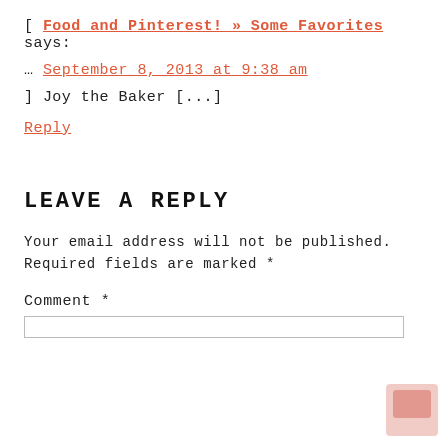[ Food and Pinterest! » Some Favorites says:
… September 8, 2013 at 9:38 am
] Joy the Baker [...]
Reply
LEAVE A REPLY
Your email address will not be published. Required fields are marked *
Comment *